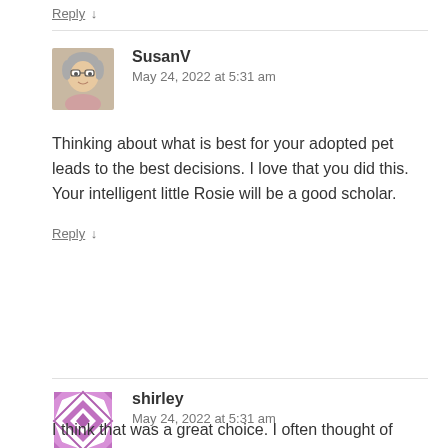Reply ↓
SusanV
May 24, 2022 at 5:31 am
Thinking about what is best for your adopted pet leads to the best decisions. I love that you did this. Your intelligent little Rosie will be a good scholar.
Reply ↓
shirley
May 24, 2022 at 5:31 am
I think that was a great choice. I often thought of bringing